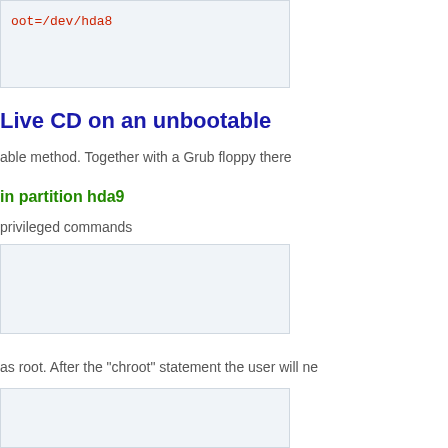[Figure (screenshot): Code block showing: oot=/dev/hda8]
Live CD on an unbootable
able method. Together with a Grub floppy there
in partition hda9
privileged commands
[Figure (screenshot): Code block (empty/content cut off)]
as root. After the "chroot" statement the user will ne
[Figure (screenshot): Code block (empty/content cut off)]